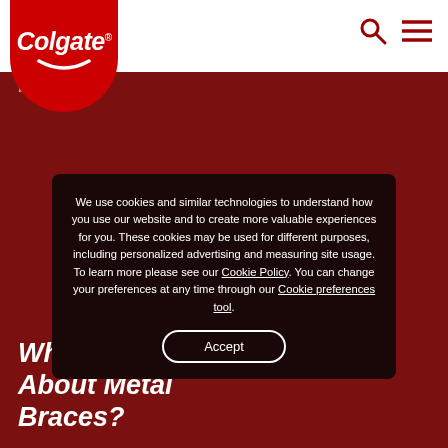[Figure (logo): Colgate logo: white text on red rounded rectangle with smile arc]
[Figure (screenshot): Website screenshot showing Colgate page with cookie consent overlay on dark red hero background. Text reads: We use cookies and similar technologies to understand how you use our website and to create more valuable experiences for you. These cookies may be used for different purposes, including personalized advertising and measuring site usage. To learn more please see our Cookie Policy. You can change your preferences at any time through our Cookie preferences tool. With an Accept button. Behind overlay: What To Know About Metal Braces? page title.]